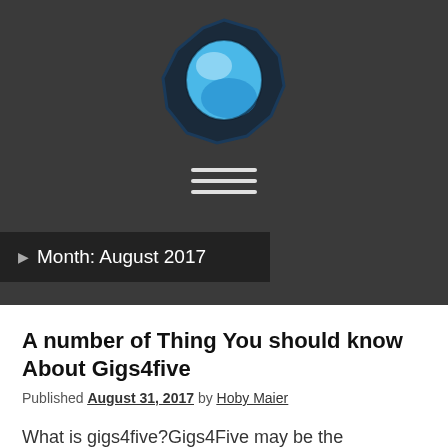[Figure (logo): A blue crystal/gem sphere logo with dark faceted edges, centered on a dark gray background]
[Figure (other): Hamburger menu icon — three horizontal white lines stacked vertically]
Month: August 2017
A number of Thing You should know About Gigs4five
Published August 31, 2017 by Hoby Maier
What is gigs4five?Gigs4Five may be the freelancer website allowing you to connect with consumers and creating employment opportunities. Your